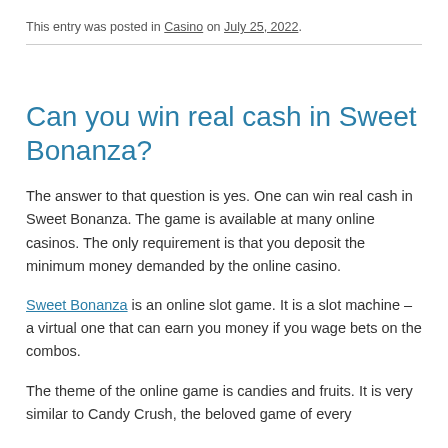This entry was posted in Casino on July 25, 2022.
Can you win real cash in Sweet Bonanza?
The answer to that question is yes. One can win real cash in Sweet Bonanza. The game is available at many online casinos. The only requirement is that you deposit the minimum money demanded by the online casino.
Sweet Bonanza is an online slot game. It is a slot machine – a virtual one that can earn you money if you wage bets on the combos.
The theme of the online game is candies and fruits. It is very similar to Candy Crush, the beloved game of every